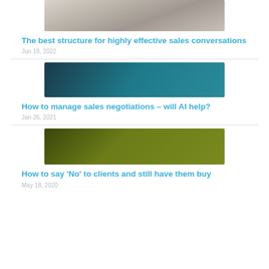[Figure (photo): Overhead view of people working in an office/cafe setting, partial image at top of page]
The best structure for highly effective sales conversations
Jun 18, 2022
[Figure (photo): Dark image of a person with digital/tech overlay, teal tones]
How to manage sales negotiations – will AI help?
Jan 26, 2021
[Figure (photo): Man with beard against a green/olive background]
How to say 'No' to clients and still have them buy
May 18, 2020